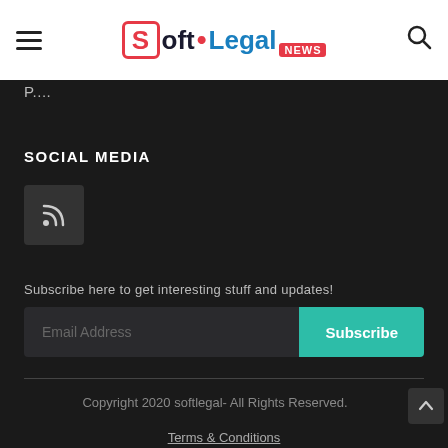Soft.Legal NEWS
P....
SOCIAL MEDIA
[Figure (illustration): RSS feed icon in a dark square box]
Subscribe here to get interesting stuff and updates!
Email Address
Subscribe
Copyright 2020 softlegal- All Rights Reserved.
Terms & Conditions